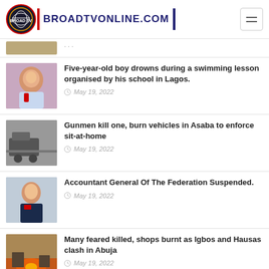BROADTVONLINE.COM
Five-year-old boy drowns during a swimming lesson organised by his school in Lagos. — May 19, 2022
Gunmen kill one, burn vehicles in Asaba to enforce sit-at-home — May 19, 2022
Accountant General Of The Federation Suspended. — May 19, 2022
Many feared killed, shops burnt as Igbos and Hausas clash in Abuja — May 19, 2022